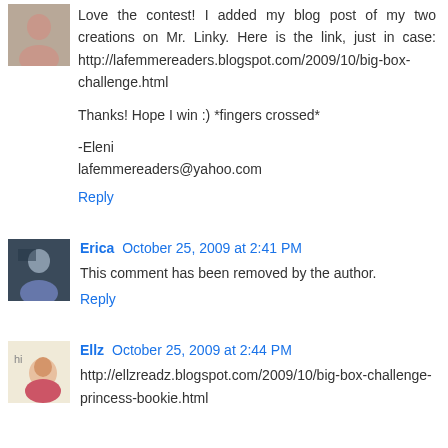Love the contest! I added my blog post of my two creations on Mr. Linky. Here is the link, just in case: http://lafemmereaders.blogspot.com/2009/10/big-box-challenge.html

Thanks! Hope I win :) *fingers crossed*

-Eleni
lafemmereaders@yahoo.com
Reply
Erica October 25, 2009 at 2:41 PM
This comment has been removed by the author.
Reply
Ellz October 25, 2009 at 2:44 PM
http://ellzreadz.blogspot.com/2009/10/big-box-challenge-princess-bookie.html